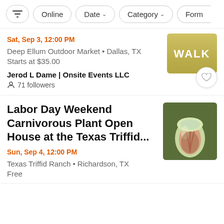Filter controls: [filter icon], Online, Date ▾, Category ▾, Form...
Sat, Sep 3, 12:00 PM
Deep Ellum Outdoor Market • Dallas, TX
Starts at $35.00
Jerod L Dame | Onsite Events LLC
71 followers
[Figure (photo): Event thumbnail showing WALK text on yellow background]
Labor Day Weekend Carnivorous Plant Open House at the Texas Triffid...
Sun, Sep 4, 12:00 PM
Texas Triffid Ranch • Richardson, TX
Free
[Figure (photo): Carnivorous pitcher plant close-up photo with pink/green coloring]